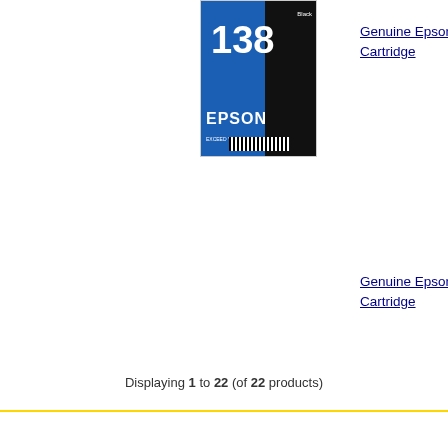[Figure (photo): Epson 138 black ink cartridge product box]
Genuine Epson T1 Cartridge
Genuine Epson T1 Cartridge
Genuine Epson T1 Cartridge
Genuine Epson T1 Cartridge
Displaying 1 to 22 (of 22 products)